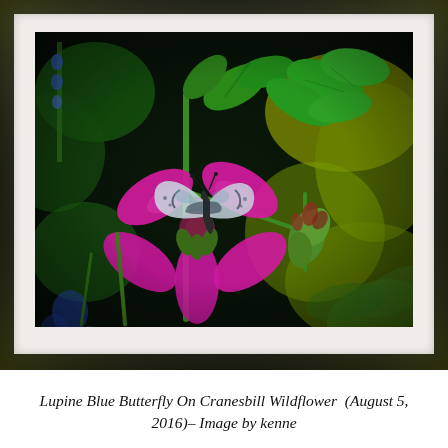[Figure (photo): A framed photograph showing a Lupine Blue Butterfly perched on a pink/magenta Cranesbill Wildflower, surrounded by green leaves and stems. The photo is mounted in a white mat inside a dark wooden frame. Taken August 5, 2016, by kenne.]
Lupine Blue Butterfly On Cranesbill Wildflower  (August 5, 2016)– Image by kenne